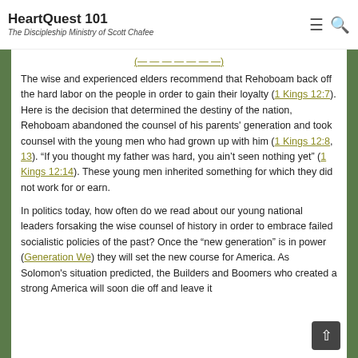HeartQuest 101 — The Discipleship Ministry of Scott Chafee
The wise and experienced elders recommend that Rehoboam back off the hard labor on the people in order to gain their loyalty (1 Kings 12:7). Here is the decision that determined the destiny of the nation, Rehoboam abandoned the counsel of his parents' generation and took counsel with the young men who had grown up with him (1 Kings 12:8, 13). "If you thought my father was hard, you ain't seen nothing yet" (1 Kings 12:14). These young men inherited something for which they did not work for or earn.
In politics today, how often do we read about our young national leaders forsaking the wise counsel of history in order to embrace failed socialistic policies of the past? Once the “new generation” is in power (Generation We) they will set the new course for America. As Solomon's situation predicted, the Builders and Boomers who created a strong America will soon die off and leave it